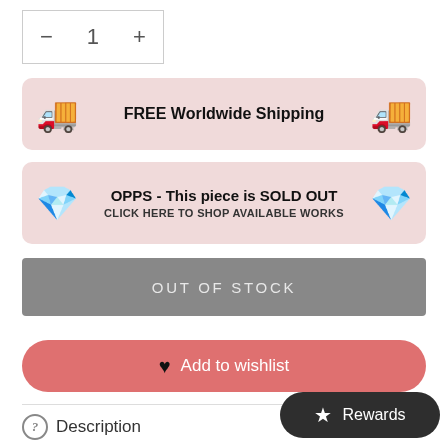— 1 +
FREE Worldwide Shipping
OPPS - This piece is SOLD OUT
CLICK HERE TO SHOP AVAILABLE WORKS
OUT OF STOCK
Add to wishlist
Description
Rewards